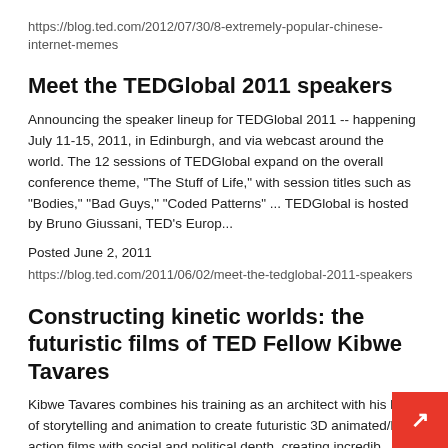https://blog.ted.com/2012/07/30/8-extremely-popular-chinese-internet-memes
Meet the TEDGlobal 2011 speakers
Announcing the speaker lineup for TEDGlobal 2011 -- happening July 11-15, 2011, in Edinburgh, and via webcast around the world. The 12 sessions of TEDGlobal expand on the overall conference theme, "The Stuff of Life," with session titles such as "Bodies," "Bad Guys," "Coded Patterns" ... TEDGlobal is hosted by Bruno Giussani, TED's Europ...
Posted June 2, 2011
https://blog.ted.com/2011/06/02/meet-the-tedglobal-2011-speakers
Constructing kinetic worlds: the futuristic films of TED Fellow Kibwe Tavares
Kibwe Tavares combines his training as an architect with his love of storytelling and animation to create futuristic 3D animated/live action films with social and political depth, creating incredib detailed, vivid, and kinetic visual environments to entice